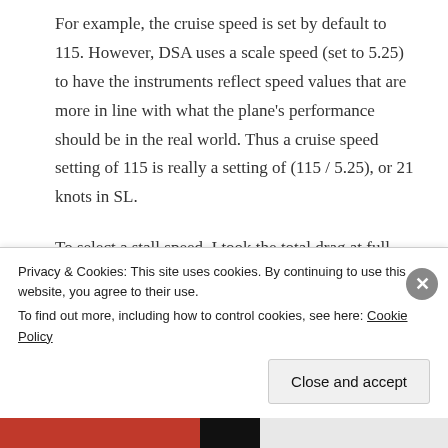For example, the cruise speed is set by default to 115. However, DSA uses a scale speed (set to 5.25) to have the instruments reflect speed values that are more in line with what the plane's performance should be in the real world. Thus a cruise speed setting of 115 is really a setting of (115 / 5.25), or 21 knots in SL.
To select a stall speed, I took the total drag at full flaps and gear down (40%) and set the value just below that: 115 – (115*.4) – 1 = 68. This calculates out to an SL speed of approximately 13 knots.
Privacy & Cookies: This site uses cookies. By continuing to use this website, you agree to their use.
To find out more, including how to control cookies, see here: Cookie Policy